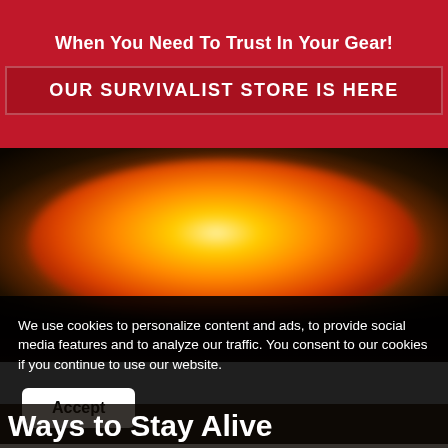When You Need To Trust In Your Gear!
OUR SURVIVALIST STORE IS HERE
[Figure (photo): Large orange and yellow explosion fireball against a dark background, viewed from ground level. The explosion cloud rises dramatically with intense glowing fire at the core.]
We use cookies to personalize content and ads, to provide social media features and to analyze our traffic. You consent to our cookies if you continue to use our website.
Accept
Ways to Stay Alive